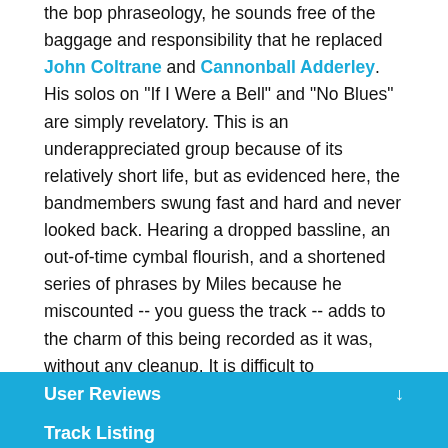the bop phraseology, he sounds free of the baggage and responsibility that he replaced John Coltrane and Cannonball Adderley. His solos on "If I Were a Bell" and "No Blues" are simply revelatory. This is an underappreciated group because of its relatively short life, but as evidenced here, the bandmembers swung fast and hard and never looked back. Hearing a dropped bassline, an out-of-time cymbal flourish, and a shortened series of phrases by Miles because he miscounted -- you guess the track -- adds to the charm of this being recorded as it was, without any cleanup. It is difficult to recommend this set over Saturday Night or vice versa; Miles fans will need both to fully appreciate how special this engagement with this particular band was.
User Reviews
Track Listing